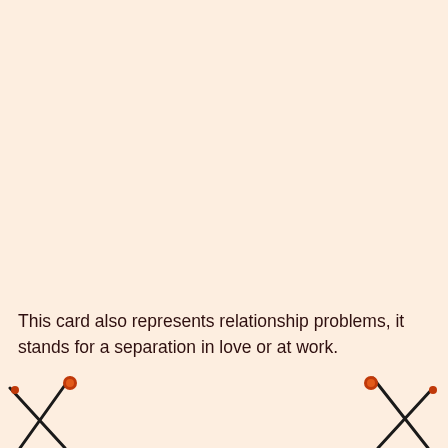This card also represents relationship problems, it stands for a separation in love or at work.
[Figure (illustration): Decorative crossed swords/arrows icon in bottom-left corner]
[Figure (illustration): Decorative crossed swords/arrows icon in bottom-right corner]